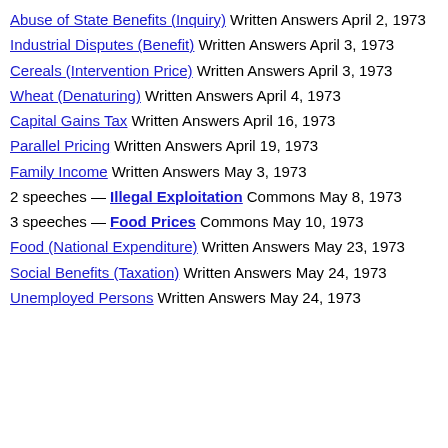Abuse of State Benefits (Inquiry) Written Answers April 2, 1973
Industrial Disputes (Benefit) Written Answers April 3, 1973
Cereals (Intervention Price) Written Answers April 3, 1973
Wheat (Denaturing) Written Answers April 4, 1973
Capital Gains Tax Written Answers April 16, 1973
Parallel Pricing Written Answers April 19, 1973
Family Income Written Answers May 3, 1973
2 speeches — Illegal Exploitation Commons May 8, 1973
3 speeches — Food Prices Commons May 10, 1973
Food (National Expenditure) Written Answers May 23, 1973
Social Benefits (Taxation) Written Answers May 24, 1973
Unemployed Persons Written Answers May 24, 1973